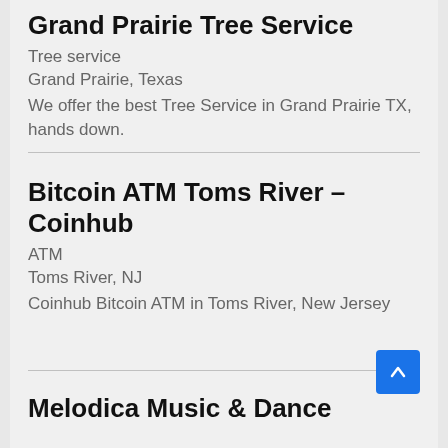Grand Prairie Tree Service
Tree service
Grand Prairie, Texas
We offer the best Tree Service in Grand Prairie TX, hands down.
Bitcoin ATM Toms River – Coinhub
ATM
Toms River, NJ
Coinhub Bitcoin ATM in Toms River, New Jersey
Melodica Music & Dance